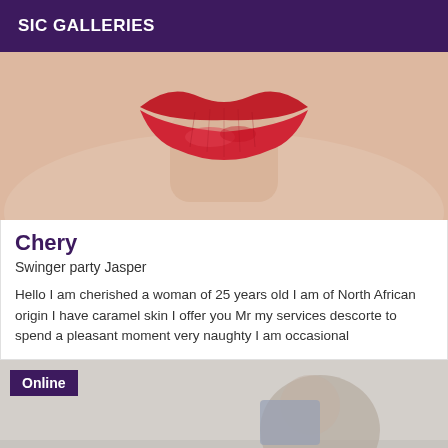SIC GALLERIES
[Figure (photo): Close-up photo of a woman's lips with red lipstick and neck/chest area]
Chery
Swinger party Jasper
Hello I am cherished a woman of 25 years old I am of North African origin I have caramel skin I offer you Mr my services descorte to spend a pleasant moment very naughty I am occasional
[Figure (photo): Partially visible photo with Online badge overlay, showing a person in the background]